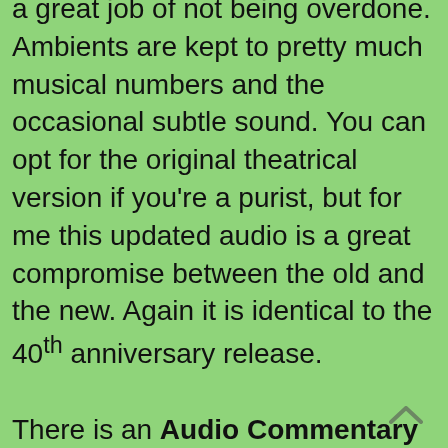a great job of not being overdone. Ambients are kept to pretty much musical numbers and the occasional subtle sound. You can opt for the original theatrical version if you're a purist, but for me this updated audio is a great compromise between the old and the new. Again it is identical to the 40th anniversary release.

There is an Audio Commentary by Andrews, Van Dyke, Karen Dotrice, and The Sherman Brothers. It's a wonderful chat, and hearing them relive these moments is